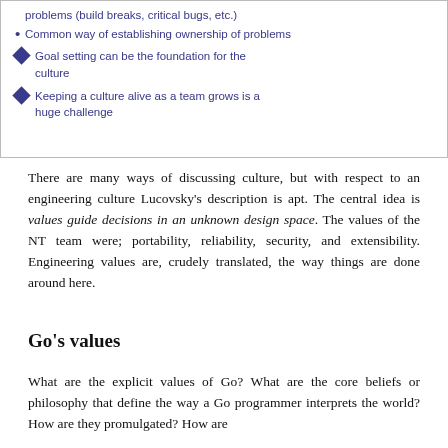[Figure (other): Slide excerpt with bullet points about engineering culture topics: problems (build breaks, critical bugs, etc.), common way of establishing ownership of problems, goal setting can be the foundation for the culture, keeping a culture alive as a team grows is a huge challenge.]
There are many ways of discussing culture, but with respect to an engineering culture Lucovsky’s description is apt. The central idea is values guide decisions in an unknown design space. The values of the NT team were; portability, reliability, security, and extensibility. Engineering values are, crudely translated, the way things are done around here.
Go’s values
What are the explicit values of Go? What are the core beliefs or philosophy that define the way a Go programmer interprets the world? How are they promulgated? How are